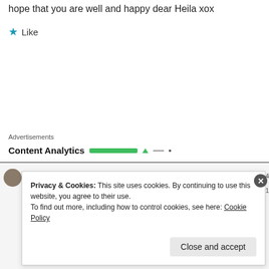hope that you are well and happy dear Heila xox
★ Like
Advertisements
[Figure (screenshot): Content Analytics advertisement bar with green progress bar, green triangle, dash, and dot]
Privacy & Cookies: This site uses cookies. By continuing to use this website, you agree to their use.
To find out more, including how to control cookies, see here: Cookie Policy
Close and accept